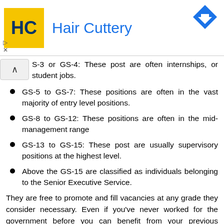[Figure (logo): Hair Cuttery advertisement banner with yellow HC logo and blue text reading 'Hair Cuttery', with a blue diamond navigation icon in top right corner]
S-3 or GS-4: These post are often internships, or student jobs.
GS-5 to GS-7: These positions are often in the vast majority of entry level positions.
GS-8 to GS-12: These positions are often in the mid-management range
GS-13 to GS-15: These post are usually supervisory positions at the highest level.
Above the GS-15 are classified as individuals belonging to the Senior Executive Service.
They are free to promote and fill vacancies at any grade they consider necessary. Even if you've never worked for the government before you can benefit from your previous employment and academic background to qualify for a higher mark. Every time you move up the steps and grades following a raise or a bonus, you will be awarded with